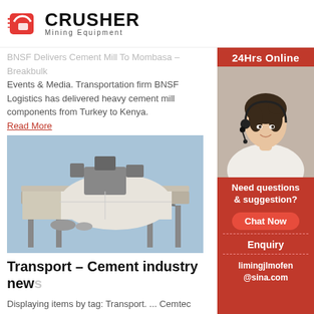CRUSHER Mining Equipment
BNSF Delivers Cement Mill To Mombasa – Breakbulk Events & Media. Transportation firm BNSF Logistics has delivered heavy cement mill components from Turkey to Kenya.
Read More
[Figure (photo): Large industrial cement mill equipment on a steel frame structure outdoors]
Transport – Cement industry new
Displaying items by tag: Transport. ... Cemtec has successfully transported a 170t cement grinding headquarters in ... for the transportation of cem
Read More
[Figure (photo): Industrial structure with blue framework against a hilly background]
[Figure (infographic): Sidebar: 24Hrs Online with customer service representative photo, Need questions & suggestion? Chat Now button, Enquiry link, limingjlmofen@sina.com email]